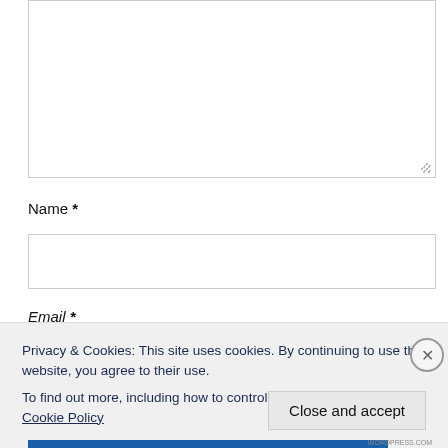[Figure (screenshot): Empty textarea input box with resize handle at bottom-right corner]
Name *
[Figure (screenshot): Empty text input field for Name]
Email *
Privacy & Cookies: This site uses cookies. By continuing to use this website, you agree to their use.
To find out more, including how to control cookies, see here: Cookie Policy
Close and accept